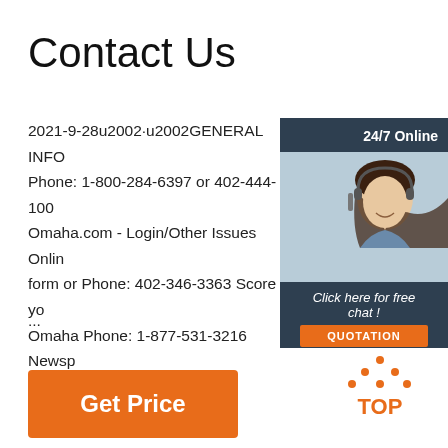Contact Us
2021-9-28u2002·u2002GENERAL INFO Phone: 1-800-284-6397 or 402-444-100 Omaha.com - Login/Other Issues Online form or Phone: 402-346-3363 Score you Omaha Phone: 1-877-531-3216 Newsp
...
[Figure (infographic): 24/7 Online chat widget with woman wearing headset, 'Click here for free chat!' text and orange QUOTATION button on dark blue background]
[Figure (logo): TOP logo with orange dots arranged in triangle and orange text reading TOP]
Get Price